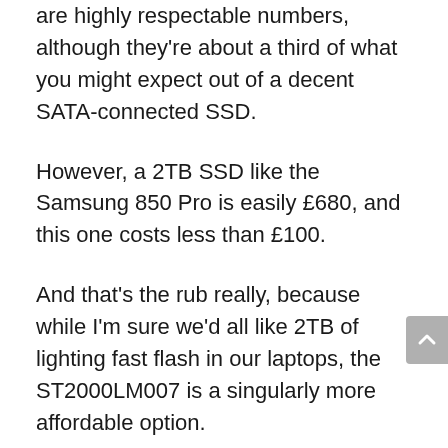are highly respectable numbers, although they're about a third of what you might expect out of a decent SATA-connected SSD.
However, a 2TB SSD like the Samsung 850 Pro is easily £680, and this one costs less than £100.
And that's the rub really, because while I'm sure we'd all like 2TB of lighting fast flash in our laptops, the ST2000LM007 is a singularly more affordable option.
If you have a laptop that can accept two drives, that's the ideal situation, because you can use a small SSD to install the OS and apps and this drive